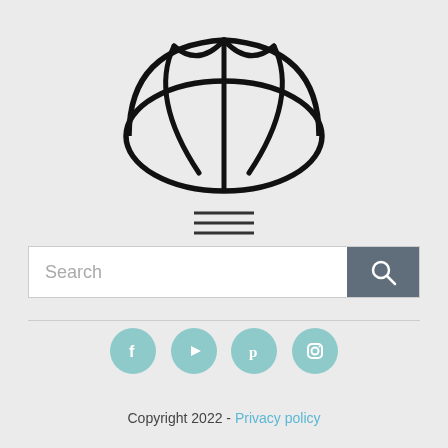[Figure (logo): Bread loaf outline logo — oval shape with scored cross-hatch lines on top, drawn in bold black strokes]
[Figure (illustration): Hamburger/menu icon — three horizontal lines]
Search
[Figure (illustration): Social media icons: Facebook, YouTube, Pinterest, Instagram — teal circular buttons]
Copyright 2022 - Privacy policy